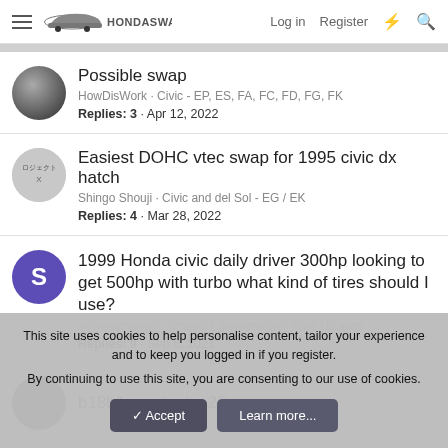HondaSwap — Log in | Register
Possible swap
HowDisWork · Civic - EP, ES, FA, FC, FD, FG, FK
Replies: 3 · Apr 12, 2022
Easiest DOHC vtec swap for 1995 civic dx hatch
Shingo Shouji · Civic and del Sol - EG / EK
Replies: 4 · Mar 28, 2022
1999 Honda civic daily driver 300hp looking to get 500hp with turbo what kind of tires should I use?
skinlessmango · Wheels / Suspension / Tires / Brakes
Replies: 9 · Sep 6, 2021
b18b1 on stock p28 ocu
This site uses cookies to help personalise content, tailor your experience and to keep you logged in if you register.
By continuing to use this site, you are consenting to our use of cookies.